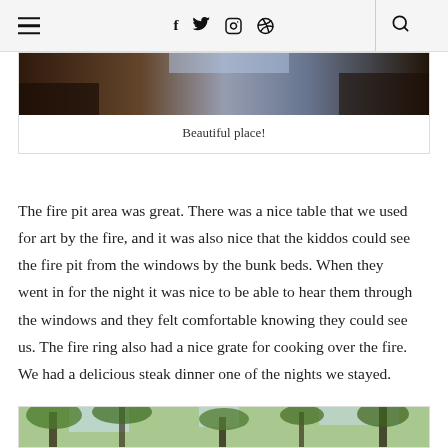☰  f  Twitter  Instagram  Pinterest  🔍
[Figure (photo): Dark indoor/outdoor scene photo, partial view at top of image block]
Beautiful place!
The fire pit area was great. There was a nice table that we used for art by the fire, and it was also nice that the kiddos could see the fire pit from the windows by the bunk beds. When they went in for the night it was nice to be able to hear them through the windows and they felt comfortable knowing they could see us. The fire ring also had a nice grate for cooking over the fire. We had a delicious steak dinner one of the nights we stayed.
[Figure (photo): Outdoor forest/trees photo, partial view at bottom of page]